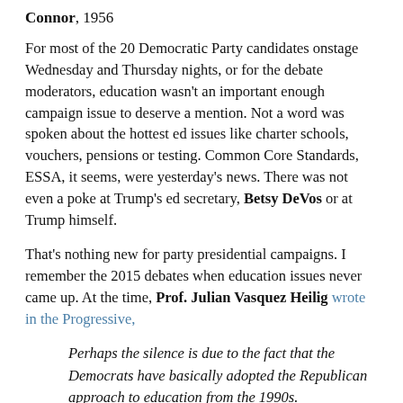Connor, 1956
For most of the 20 Democratic Party candidates onstage Wednesday and Thursday nights, or for the debate moderators, education wasn't an important enough campaign issue to deserve a mention. Not a word was spoken about the hottest ed issues like charter schools, vouchers, pensions or testing. Common Core Standards, ESSA, it seems, were yesterday's news. There was not even a poke at Trump's ed secretary, Betsy DeVos or at Trump himself.
That's nothing new for party presidential campaigns. I remember the 2015 debates when education issues never came up. At the time, Prof. Julian Vasquez Heilig wrote in the Progressive,
Perhaps the silence is due to the fact that the Democrats have basically adopted the Republican approach to education from the 1990s.
If anything has changed in the past four years, that hasn't. This week, hardly an ed word was spoken. Not a word, that is, until Sen. Kamala Harris stole right type with her